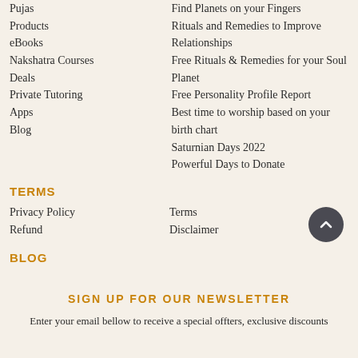Pujas
Products
eBooks
Nakshatra Courses
Deals
Private Tutoring
Apps
Blog
Find Planets on your Fingers
Rituals and Remedies to Improve Relationships
Free Rituals & Remedies for your Soul Planet
Free Personality Profile Report
Best time to worship based on your birth chart
Saturnian Days 2022
Powerful Days to Donate
TERMS
Privacy Policy
Refund
Terms
Disclaimer
BLOG
SIGN UP FOR OUR NEWSLETTER
Enter your email bellow to receive a special offters, exclusive discounts